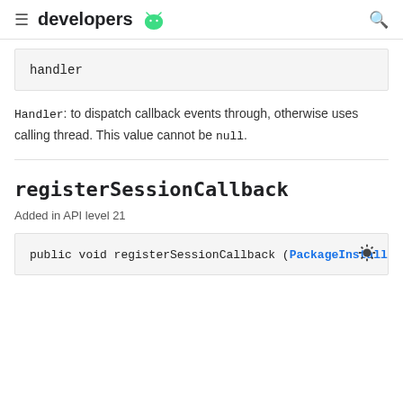developers
handler
Handler: to dispatch callback events through, otherwise uses calling thread. This value cannot be null.
registerSessionCallback
Added in API level 21
public void registerSessionCallback (PackageInstalle